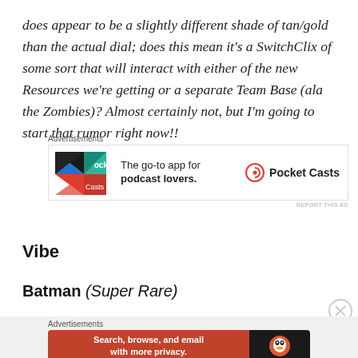does appear to be a slightly different shade of tan/gold than the actual dial; does this mean it's a SwitchClix of some sort that will interact with either of the new Resources we're getting or a separate Team Base (ala the Zombies)? Almost certainly not, but I'm going to start that rumor right now!!
[Figure (other): Pocket Casts advertisement: colorful app icon with text 'The go-to app for podcast lovers.' and Pocket Casts logo]
Vibe
Batman (Super Rare)
[Figure (other): DuckDuckGo advertisement: orange background with text 'Search, browse, and email with more privacy. All in One Free App' and DuckDuckGo logo on dark background]